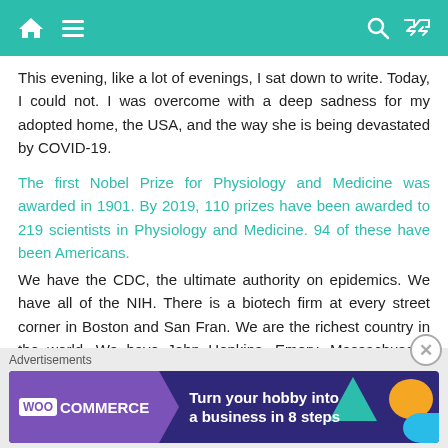Navigation header with home, menu, search, and shuffle icons
This evening, like a lot of evenings, I sat down to write. Today, I could not. I was overcome with a deep sadness for my adopted home, the USA, and the way she is being devastated by COVID-19.
The first Nobel Prize for Physiology and Medicine was awarded in 1901. By 2019, 110 prizes have been awarded to 219 scientists in Physiology and Medicine. 94 of these have been Americans.
We have the CDC, the ultimate authority on epidemics. We have all of the NIH. There is a biotech firm at every street corner in Boston and San Fran. We are the richest country in the world. We have John Hopkins, Emory, Massachusetts General Hospital, Cleveland Clinic, Baylor...
Advertisements
[Figure (other): WooCommerce advertisement banner: 'Turn your hobby into a business in 8 steps' with teal, orange, and blue geometric shapes on dark purple background]